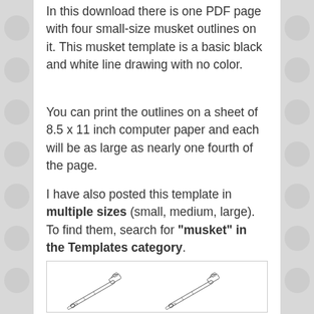In this download there is one PDF page with four small-size musket outlines on it. This musket template is a basic black and white line drawing with no color.
You can print the outlines on a sheet of 8.5 x 11 inch computer paper and each will be as large as nearly one fourth of the page.
I have also posted this template in multiple sizes (small, medium, large). To find them, search for "musket" in the Templates category.
[Figure (illustration): Two musket outline illustrations side by side inside a bordered box, showing black and white line drawings of flintlock muskets]